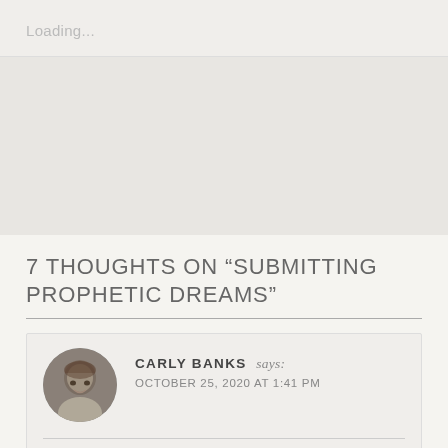Loading...
7 THOUGHTS ON “SUBMITTING PROPHETIC DREAMS”
CARLY BANKS says: OCTOBER 25, 2020 AT 1:41 PM
Hello! I have been having many dreams lately, so i started writing them down. I do beleive they are from